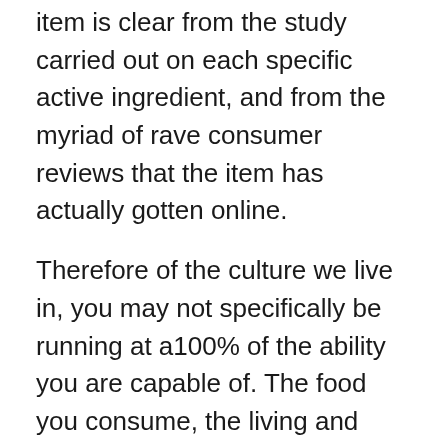item is clear from the study carried out on each specific active ingredient, and from the myriad of rave consumer reviews that the item has actually gotten online.
Therefore of the culture we live in, you may not specifically be running at a100% of the ability you are capable of. The food you consume, the living and workplace you are operating in will certainly see to that. It doesn't suggest you are out of options. It just means there is a chance to accomplish your entire capability.